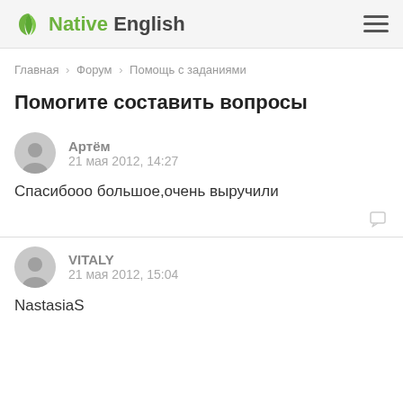Native English
Главная › Форум › Помощь с заданиями
Помогите составить вопросы
Артём
21 мая 2012, 14:27

Спасибооо большое,очень выручили
VITALY
21 мая 2012, 15:04

NastasiaS